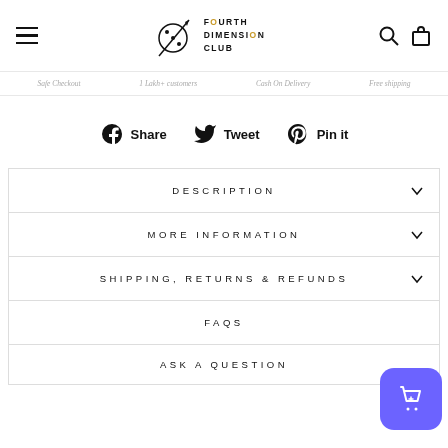Fourth Dimension Club — navigation header with logo, hamburger menu, search and cart icons
Safe Checkout   1 Lakh+ customers   Cash On Delivery   Free shipping
Share   Tweet   Pin it
DESCRIPTION
MORE INFORMATION
SHIPPING, RETURNS & REFUNDS
FAQS
ASK A QUESTION